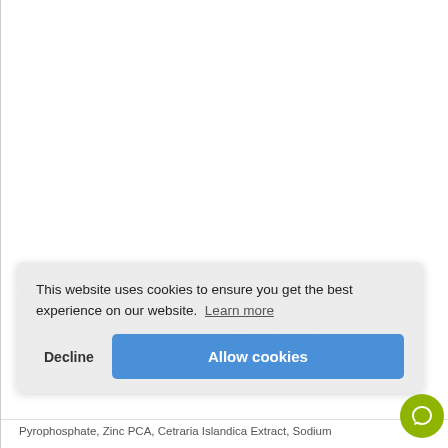This website uses cookies to ensure you get the best experience on our website. Learn more
Decline   Allow cookies
Acqua, Zinc Carbonate Hydroxide, Sorbitol, Glycerin, Sorbitol, Aroma, Sodium Lauroyl Sarcosinate, Sodium Methyl Cocoyl Taurate, Tetrasodium Pyrophosphate, Zinc PCA, Cetraria Islandica Extract, Sodium